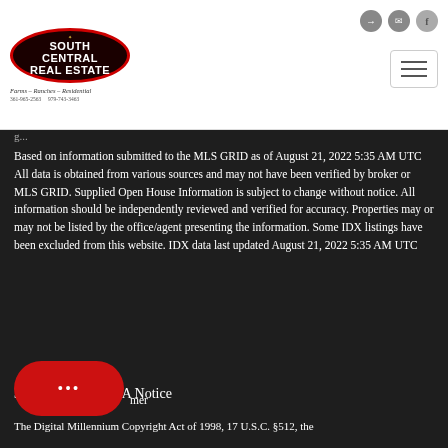[Figure (logo): South Central Real Estate logo — oval black badge with red border, white bold text 'SOUTH CENTRAL Real Estate', tagline 'Farms – Ranches – Residential' with phone numbers below]
Based on information submitted to the MLS GRID as of August 21, 2022 5:35 AM UTC All data is obtained from various sources and may not have been verified by broker or MLS GRID. Supplied Open House Information is subject to change without notice. All information should be independently reviewed and verified for accuracy. Properties may or may not be listed by the office/agent presenting the information. Some IDX listings have been excluded from this website. IDX data last updated August 21, 2022 5:35 AM UTC
33. Required DMCA Notice
mer
The Digital Millennium Copyright Act of 1998, 17 U.S.C. §512, the